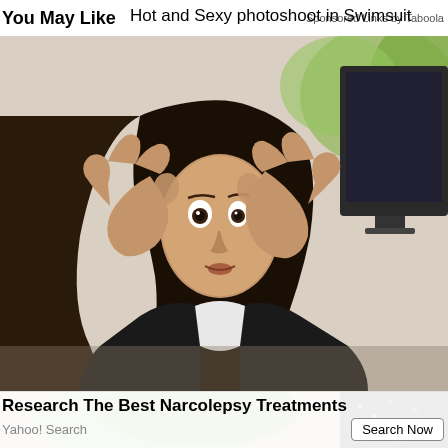You May Like
Hot and Sexy photoshoot in Swimsuit
Sponsored Links by Taboola
[Figure (photo): Woman in a black blazer sitting at a desk in front of a computer monitor, holding both hands up to her eyes forming circles with her thumb and index fingers, looking through them like binoculars with a surprised/wide-eyed expression. Background has green foliage.]
Research The Best Narcolepsy Treatments
Yahoo! Search
Search Now
[Figure (photo): Partial view of a woman in a dark sequined dress with green foliage in background, bottom advertisement area.]